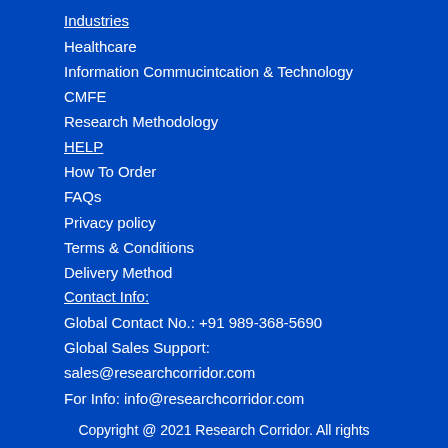Industries
Healthcare
Information Commucintcation & Technology
CMFE
Research Methodology
HELP
How To Order
FAQs
Privacy policy
Terms & Conditions
Delivery Method
Contact Info:
Global Contact No.: +91 989-368-5690
Global Sales Support:
sales@researchcorridor.com
For Info: info@researchcorridor.com
Copyright @ 2021 Research Corridor. All rights